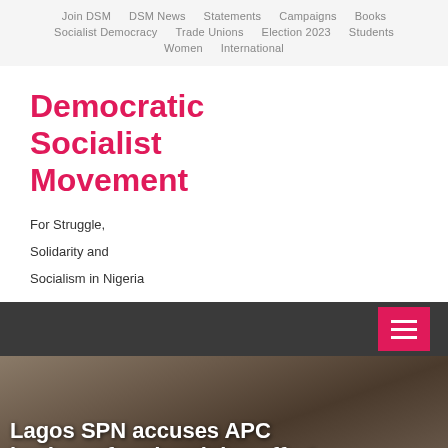Join DSM  DSM News  Statements  Campaigns  Books  Socialist Democracy  Trade Unions  Election 2023  Students  Women  International
Democratic Socialist Movement
For Struggle, Solidarity and Socialism in Nigeria
[Figure (photo): Crowd of people at a rally or protest, with an overlaid headline text about Lagos SPN accusing APC leaders of undermining effort]
Lagos SPN accuses APC leaders of undermining effort